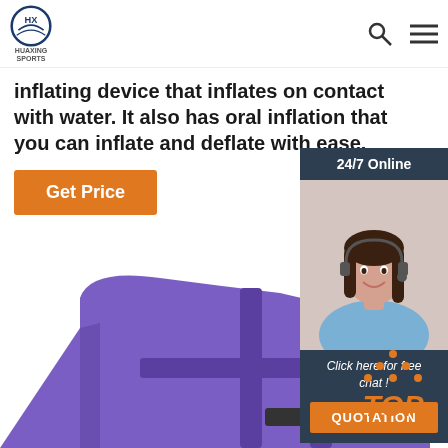HUAXING SPORTS logo with search and menu icons
inflating device that inflates on contact with water. It also has oral inflation that you can inflate and deflate with ease.
Get Price
[Figure (photo): 24/7 Online customer service agent - woman with headset smiling, with 'Click here for free chat!' text and QUOTATION button]
[Figure (photo): Purple life jacket / buoyancy aid product photo showing straps and buckles]
[Figure (other): TOP navigation button with orange dots forming a triangle above the text]